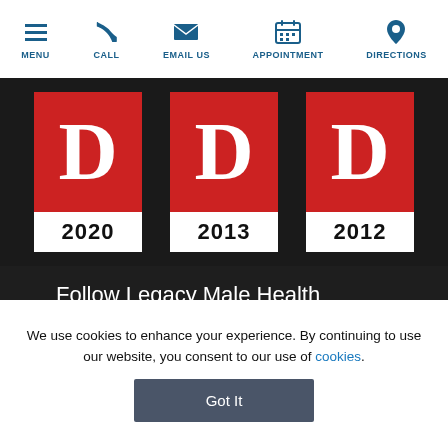MENU | CALL | EMAIL US | APPOINTMENT | DIRECTIONS
[Figure (logo): Three D Magazine award badges for years 2020, 2013, and 2012 with red D logo on dark background]
Follow Legacy Male Health
[Figure (infographic): Social media icon buttons: Twitter, LinkedIn, Facebook, YouTube, and a plus button]
Get in Touch
New Patients: (972) 996-7177
We use cookies to enhance your experience. By continuing to use our website, you consent to our use of cookies.
Got It